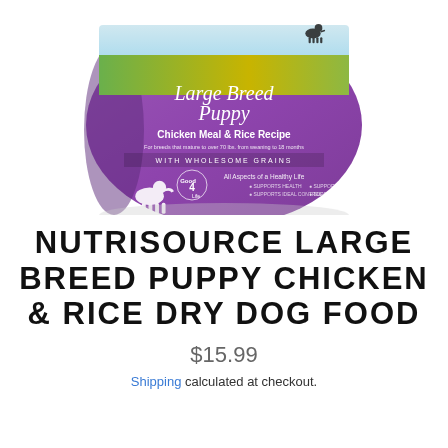[Figure (photo): NutriSource Large Breed Puppy Chicken Meal & Rice Recipe dry dog food bag, purple/violet colored bag with green/yellow field and dogs at top, 'Good 4 Life' system logo, 'WITH WHOLESOME GRAINS' text on bag]
NUTRISOURCE LARGE BREED PUPPY CHICKEN & RICE DRY DOG FOOD
$15.99
Shipping calculated at checkout.